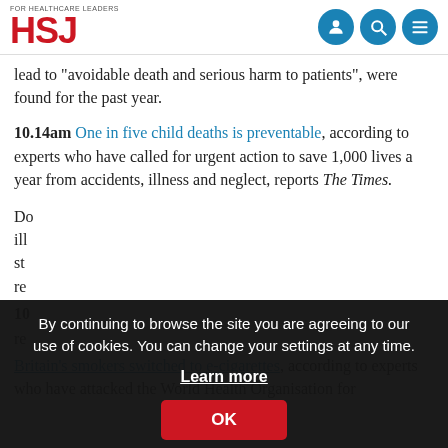HSJ — For Healthcare Leaders
lead to "avoidable death and serious harm to patients", were found for the past year.
10.14am One in five child deaths is preventable, according to experts who have called for urgent action to save 1,000 lives a year from accidents, illness and neglect, reports The Times.
Do... child's ill... st... re...
10...
re...
Britain's smokers switched to e-cigarettes, according to experts who have attacked the World Health Organisation for
By continuing to browse the site you are agreeing to our use of cookies. You can change your settings at any time. Learn more OK